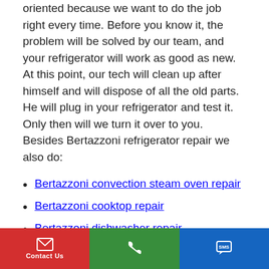oriented because we want to do the job right every time. Before you know it, the problem will be solved by our team, and your refrigerator will work as good as new. At this point, our tech will clean up after himself and will dispose of all the old parts. He will plug in your refrigerator and test it. Only then will we turn it over to you. Besides Bertazzoni refrigerator repair we also do:
Bertazzoni convection steam oven repair
Bertazzoni cooktop repair
Bertazzoni dishwasher repair
Bertazzoni microwave repair
Bertazzoni oven repair
Contact Us | Phone | SMS